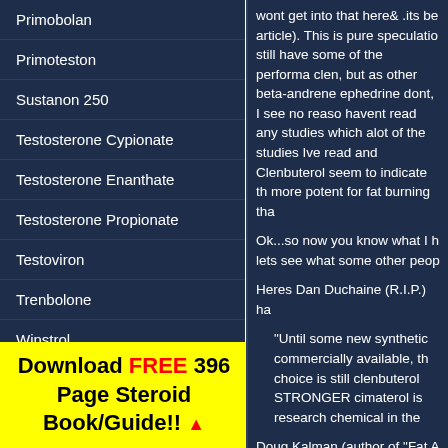Primobolan
Primoteston
Sustanon 250
Testosterone Cypionate
Testosterone Enanthate
Testosterone Propionate
Testoviron
Trenbolone
Winstrol
Download FREE 396 Page Steroid Book/Guide!! ▲
wont get into that here& .its be article). This is pure speculatio still have some of the performa clen, but as other beta-andrene ephedrine dont, I see no reaso havent read any studies which alot of the studies Ive read and Clenbuterol seem to indicate th more potent for fat burning tha
Ok...so now you know what I h lets see what some other peop
Heres Dan Duchaine (R.I.P.) ha
"Until some new synthetic commercially available, th choice is still clenbuterol STRONGER cimaterol is research chemical in the
Doug Kalman (author of "Fat A Cimaterol and said: